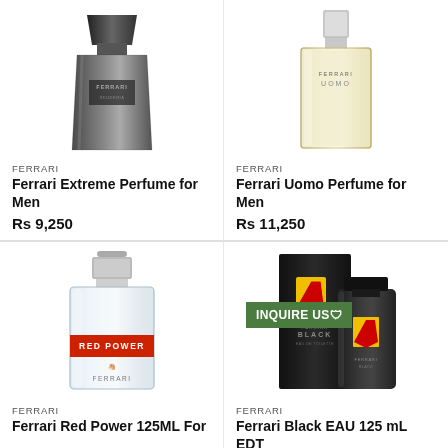[Figure (photo): Ferrari Extreme perfume bottle - dark grey angular bottle]
FERRARI
Ferrari Extreme Perfume for Men
Rs 9,250
[Figure (photo): Ferrari Uomo perfume bottle - clear rectangular bottle with light golden liquid]
FERRARI
Ferrari Uomo Perfume for Men
Rs 11,250
[Figure (photo): Ferrari Red Power perfume bottle - clear rectangular bottle with red band label]
FERRARI
Ferrari Red Power 125ML For
[Figure (photo): Ferrari Black EAU box and bottle - black packaging with Ferrari shield logo, with INQUIRE US badge]
FERRARI
Ferrari Black EAU 125 mL EDT